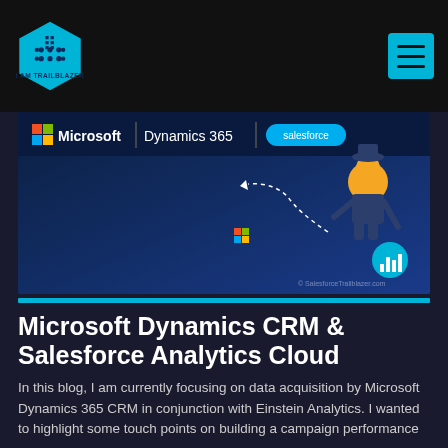I AM TRAILBLAZER
[Figure (screenshot): Banner image showing Microsoft Dynamics 365 and Salesforce logos on a dark blue background with cartoon characters and a teal analytics icon. Copyright SalesforceTrailblazer.com]
Microsoft Dynamics CRM & Salesforce Analytics Cloud
In this blog, I am currently focusing on data acquisition by Microsoft Dynamics 365 CRM in conjunction with Einstein Analytics. I wanted to highlight some touch points on building a campaign performance dashboard by aggregating Microsoft & Salesforce marketing data for this use case. Why Data Acquisition? Data Acquisition is one of the core factors to deliver successful Einstein Analytics...